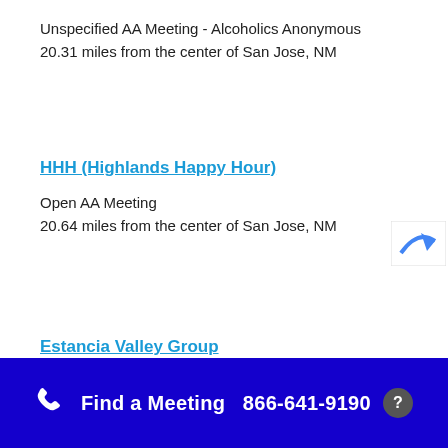Unspecified AA Meeting - Alcoholics Anonymous
20.31 miles from the center of San Jose, NM
HHH (Highlands Happy Hour)
Open AA Meeting
20.64 miles from the center of San Jose, NM
Estancia Valley Group
Find a Meeting  866-641-9190